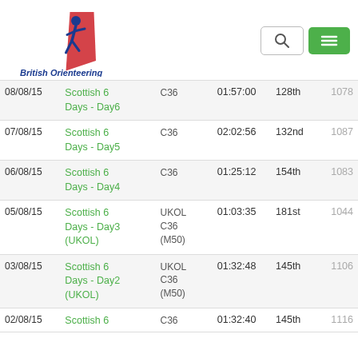[Figure (logo): British Orienteering logo with runner silhouette and red/blue design, text reads British Orienteering]
| Date | Event | Course | Time | Position | Points |
| --- | --- | --- | --- | --- | --- |
| 08/08/15 | Scottish 6 Days - Day6 | C36 | 01:57:00 | 128th | 1078 |
| 07/08/15 | Scottish 6 Days - Day5 | C36 | 02:02:56 | 132nd | 1087 |
| 06/08/15 | Scottish 6 Days - Day4 | C36 | 01:25:12 | 154th | 1083 |
| 05/08/15 | Scottish 6 Days - Day3 (UKOL) | UKOL C36 (M50) | 01:03:35 | 181st | 1044 |
| 03/08/15 | Scottish 6 Days - Day2 (UKOL) | UKOL C36 (M50) | 01:32:48 | 145th | 1106 |
| 02/08/15 | Scottish 6 | C36 | 01:32:40 | 145th | 1116 |